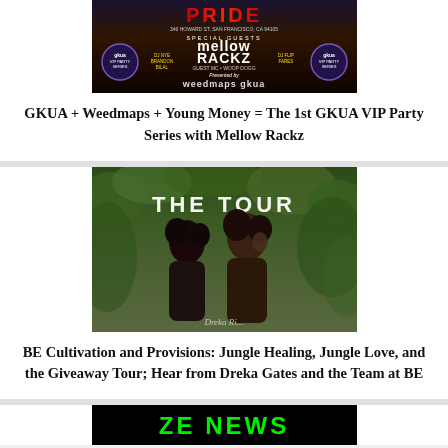[Figure (photo): Promotional flyer for GKUA VIP Party Series event featuring Mellow Rackz as special guest, with DJ names, GKUA logos/badges, and presented by Weedmaps and GKUA branding. Dark background with red Pride text at top.]
GKUA + Weedmaps + Young Money = The 1st GKUA VIP Party Series with Mellow Rackz
[Figure (photo): Promotional image for 'THE TOUR' featuring two women in a tropical jungle/outdoor setting with green foliage. Text 'THE TOUR' displayed at top and a signature-style text at bottom.]
BE Cultivation and Provisions: Jungle Healing, Jungle Love, and the Giveaway Tour; Hear from Dreka Gates and the Team at BE
[Figure (photo): Partial view of a logo/banner with bright green text, partially cut off at the bottom of the page, appearing to read 'ZE NEWS' or similar on a black background.]